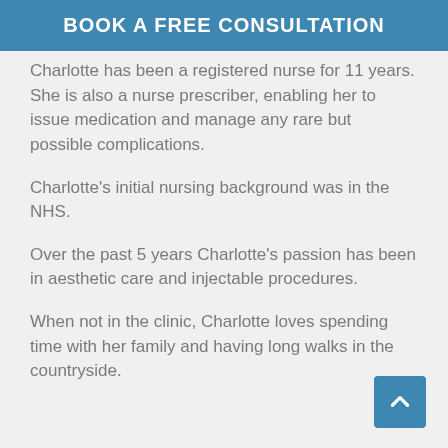BOOK A FREE CONSULTATION
Charlotte has been a registered nurse for 11 years. She is also a nurse prescriber, enabling her to issue medication and manage any rare but possible complications.
Charlotte's initial nursing background was in the NHS.
Over the past 5 years Charlotte's passion has been in aesthetic care and injectable procedures.
When not in the clinic, Charlotte loves spending time with her family and having long walks in the countryside.